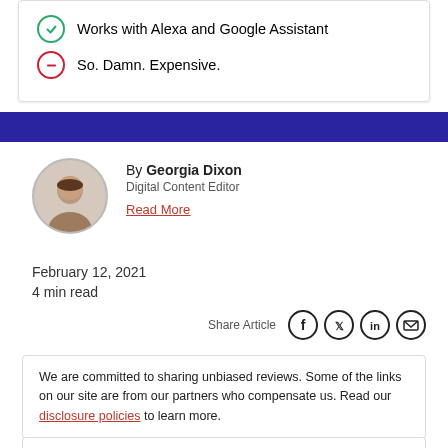Works with Alexa and Google Assistant
So. Damn. Expensive.
By Georgia Dixon
Digital Content Editor
Read More
February 12, 2021
4 min read
Share Article
We are committed to sharing unbiased reviews. Some of the links on our site are from our partners who compensate us. Read our disclosure policies to learn more.